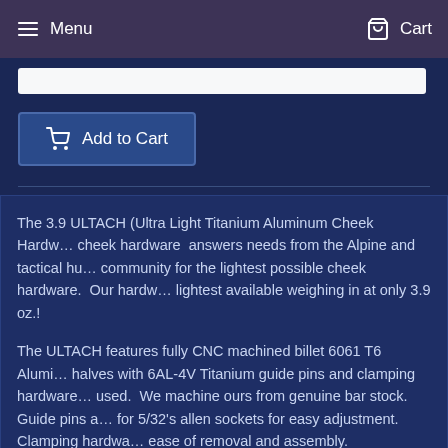Menu   Cart
The 3.9 ULTACH (Ultra Light Titanium Aluminum Cheek Hardware) cheek hardware answers needs from the Alpine and tactical hunting community for the lightest possible cheek hardware. Our hardware is the lightest available weighing in at only 3.9 oz.!
The ULTACH features fully CNC machined billet 6061 T6 Aluminum halves with 6AL-4V Titanium guide pins and clamping hardware used. We machine ours from genuine bar stock. Guide pins are for 5/32's allen sockets for easy adjustment. Clamping hardware for ease of removal and assembly.